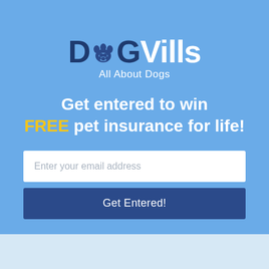[Figure (logo): DogVills logo with paw print replacing the letter 'o', dark navy and white text on light blue background. Tagline: All About Dogs]
Get entered to win FREE pet insurance for life!
Enter your email address
Get Entered!